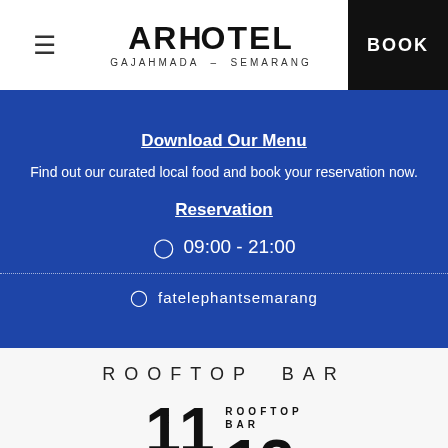≡ ARHOTEL GAJAHMADA - SEMARANG | BOOK
Download Our Menu
Find out our curated local food and book your reservation now.
Reservation
⊙ 09:00 - 21:00
⊙ fatelephantsemarang
ROOFTOP BAR
[Figure (logo): 11/12 Rooftop Bar logo with large bold numerals 11 and 12, a horizontal bar, and text ROOFTOP BAR]